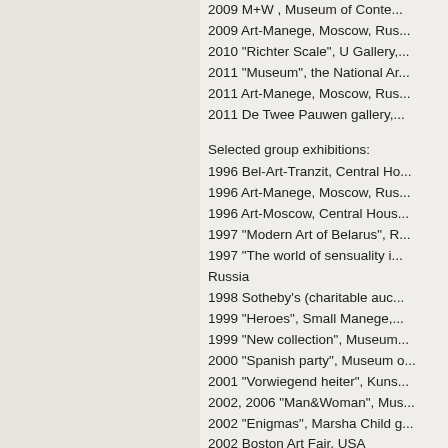2009 M+W , Museum of Contemporary Art...
2009 Art-Manege, Moscow, Ru...
2010 "Richter Scale", U Gallery,...
2011 "Museum", the National Ar...
2011 Art-Manege, Moscow, Rus...
2011 De Twee Pauwen gallery,...
Selected group exhibitions:
1996 Bel-Art-Tranzit, Central Ho...
1996 Art-Manege, Moscow, Rus...
1996 Art-Moscow, Central Hous...
1997 "Modern Art of Belarus", R...
1997 "The world of sensuality i... Russia
1998  Sotheby's (charitable auc...
1999 "Heroes", Small Manege,...
1999 "New collection", Museum...
2000 "Spanish party", Museum o...
2001 "Vorwiegend heiter", Kuns...
2002, 2006 "Man&Woman", Mus...
2002 "Enigmas", Marsha Child g...
2002 Boston Art Fair, USA